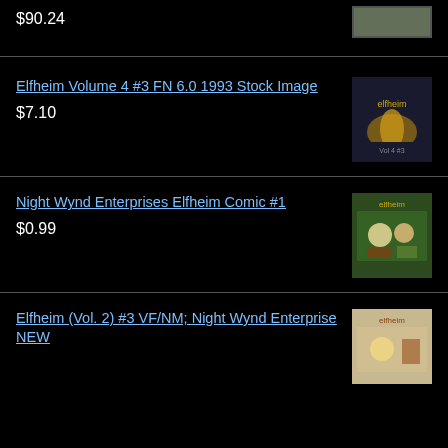$90.24
Elfheim Volume 4 #3 FN 6.0 1993 Stock Image
$7.10
Night Wynd Enterprises Elfheim Comic #1
$0.99
Elfheim (Vol. 2) #3 VF/NM; Night Wynd Enterprise NEW